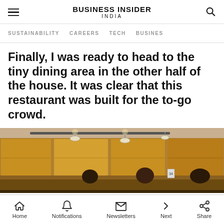BUSINESS INSIDER INDIA
SUSTAINABILITY   CAREERS   TECH   BUSINESS
Finally, I was ready to head to the tiny dining area in the other half of the house. It was clear that this restaurant was built for the to-go crowd.
[Figure (photo): Interior of a restaurant dining area with warm wooden wall panels, pendant lights on a track rail, and people seated at tables in low lighting.]
Home   Notifications   Newsletters   Next   Share